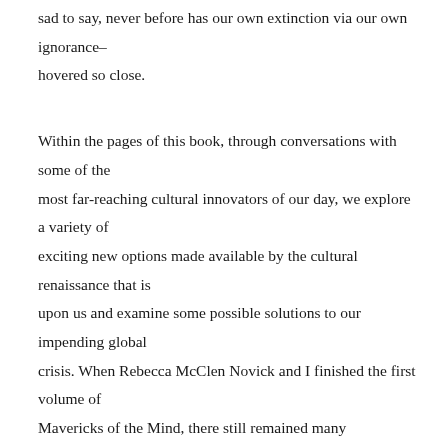sad to say, never before has our own extinction via our own ignorance–hovered so close.

Within the pages of this book, through conversations with some of the most far-reaching cultural innovators of our day, we explore a variety of exciting new options made available by the cultural renaissance that is upon us and examine some possible solutions to our impending global crisis. When Rebecca McClen Novick and I finished the first volume of Mavericks of the Mind, there still remained many extraordinary individuals whom we had wished to include. In addition, friends flooded us with recommendations for potential interviewees. If that were not enough, every time we did a lecture or book-signing, we would meet people who had yet more recommendations. A number of individuals whom I did not even know called me and recommended themselves as candidates. Upon consideration of all this, we decided to do an additional collection, which you now hold in your hands. And a third volume is in the works.